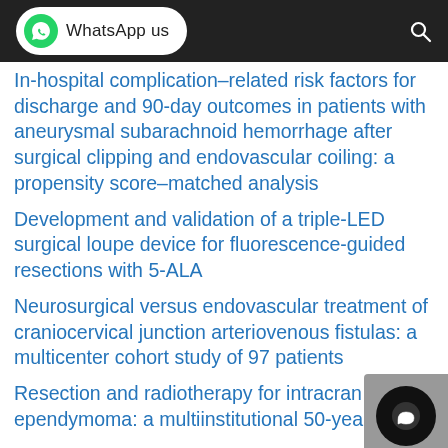WhatsApp us
In-hospital complication-related risk factors for discharge and 90-day outcomes in patients with aneurysmal subarachnoid hemorrhage after surgical clipping and endovascular coiling: a propensity score-matched analysis
Development and validation of a triple-LED surgical loupe device for fluorescence-guided resections with 5-ALA
Neurosurgical versus endovascular treatment of craniocervical junction arteriovenous fistulas: a multicenter cohort study of 97 patients
Resection and radiotherapy for intracranial ependymoma: a multiinstitutional 50-year